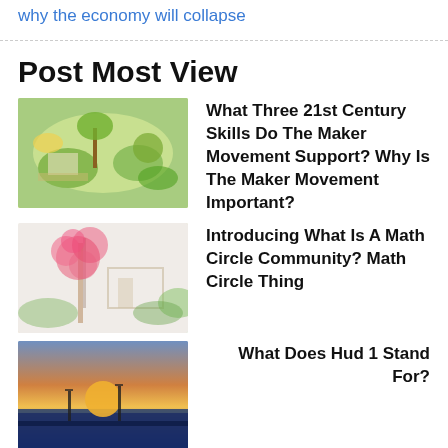why the economy will collapse
Post Most View
What Three 21st Century Skills Do The Maker Movement Support? Why Is The Maker Movement Important?
Introducing What Is A Math Circle Community? Math Circle Thing
What Does Hud 1 Stand For?
The Best “Who’s who Among American High School Students”